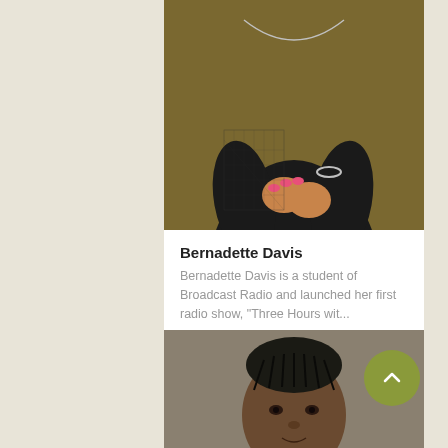[Figure (photo): Photo of Bernadette Davis, a woman in a dark patterned top with hands clasped, wearing a necklace and bracelet, against a golden-brown background]
Bernadette Davis
Bernadette Davis is a student of Broadcast Radio and launched her first radio show, "Three Hours wit...
| Field | Value |
| --- | --- |
| First Name | Bernadette |
| Last Name | Davis |
| Gender | Female |
[Figure (infographic): Social media icons row: email, Facebook, Twitter, home/website — each as white icon on dark purple circle]
[Figure (photo): Photo of a second person, showing face and hair with braids pulled back, against a grey background]